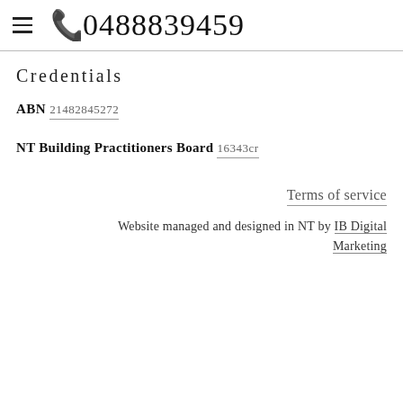☰ 0488839459
Credentials
ABN
21482845272
NT Building Practitioners Board
16343cr
Terms of service
Website managed and designed in NT by IB Digital Marketing